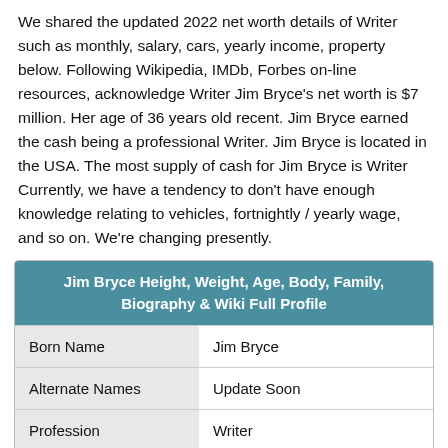We shared the updated 2022 net worth details of Writer such as monthly, salary, cars, yearly income, property below. Following Wikipedia, IMDb, Forbes on-line resources, acknowledge Writer Jim Bryce's net worth is $7 million. Her age of 36 years old recent. Jim Bryce earned the cash being a professional Writer. Jim Bryce is located in the USA. The most supply of cash for Jim Bryce is Writer Currently, we have a tendency to don't have enough knowledge relating to vehicles, fortnightly / yearly wage, and so on. We're changing presently.
|  |  |
| --- | --- |
| Born Name | Jim Bryce |
| Alternate Names | Update Soon |
| Profession | Writer |